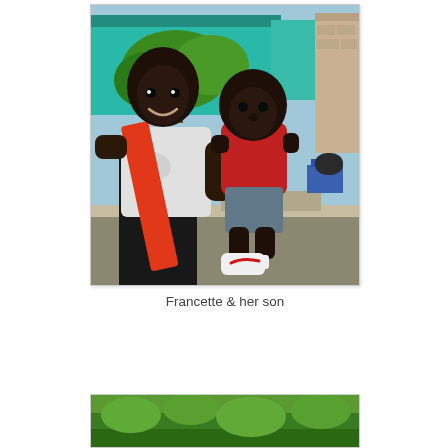[Figure (photo): A woman (Francette) smiling and holding a young baby/toddler dressed in a red shirt and gray shorts with white Nike shoes. The woman wears a white t-shirt with an orange/red diagonal sash across her torso and black pants. They are standing outdoors in front of a teal/turquoise building with green foliage and a stone wall visible in the background.]
Francette & her son
[Figure (photo): Partial view of a second photograph showing green outdoor scenery, visible at the bottom of the page.]